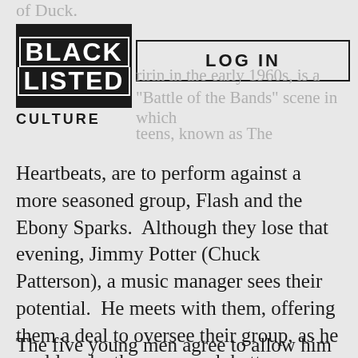of Duck.
[Figure (logo): Blacklisted Culture logo: black box with WHITE text 'BLACK LISTED' in bold uppercase with border, and 'CULTURE' below in black on grey background]
[Figure (screenshot): LOG IN button/box]
ririn in the early 1960s, is a "Battle of the Bands" scene in which teens, known as The Heartbeats, are to perform against a more seasoned group, Flash and the Ebony Sparks.  Although they lose that evening, Jimmy Potter (Chuck Patterson), a music manager sees their potential.  He meets with them, offering them a deal to oversee their group, as he could make them so much better.
The five young men agree to allow him